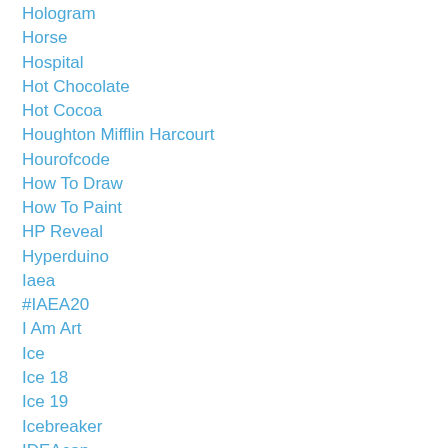Hologram
Horse
Hospital
Hot Chocolate
Hot Cocoa
Houghton Mifflin Harcourt
Hourofcode
How To Draw
How To Paint
HP Reveal
Hyperduino
Iaea
#IAEA20
I Am Art
Ice
Ice 18
Ice 19
Icebreaker
IDEAcon
Idioms
IEngage